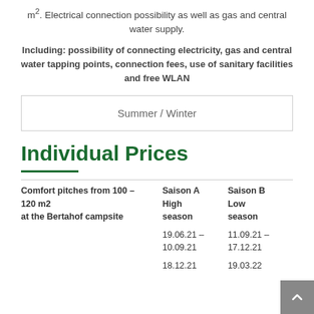m². Electrical connection possibility as well as gas and central water supply.
Including: possibility of connecting electricity, gas and central water tapping points, connection fees, use of sanitary facilities and free WLAN
Summer / Winter
Individual Prices
| Comfort pitches from 100 – 120 m2 at the Bertahof campsite | Saison A High season | Saison B Low season |
| --- | --- | --- |
|  | 19.06.21 – 10.09.21 | 11.09.21 – 17.12.21 |
|  | 18.12.21 | 19.03.22 |